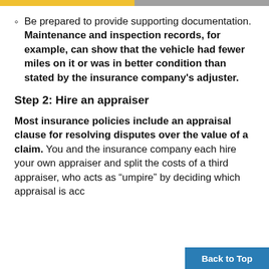Be prepared to provide supporting documentation. Maintenance and inspection records, for example, can show that the vehicle had fewer miles on it or was in better condition than stated by the insurance company's adjuster.
Step 2: Hire an appraiser
Most insurance policies include an appraisal clause for resolving disputes over the value of a claim. You and the insurance company each hire your own appraiser and split the costs of a third appraiser, who acts as “umpire” by deciding which appraisal is acc…